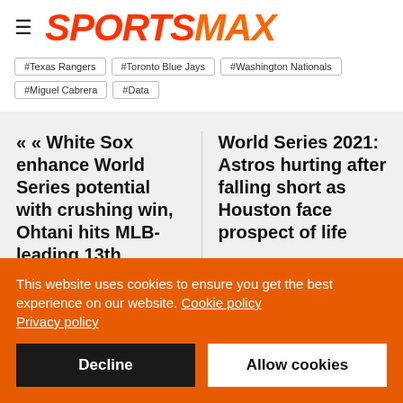SPORTSMAX
#Texas Rangers
#Toronto Blue Jays
#Washington Nationals
#Miguel Cabrera
#Data
« White Sox enhance World Series potential with crushing win, Ohtani hits MLB-leading 13th
World Series 2021: Astros hurting after falling short as Houston face prospect of life
This website uses cookies to ensure you get the best experience on our website. Cookie policy Privacy policy
Decline
Allow cookies